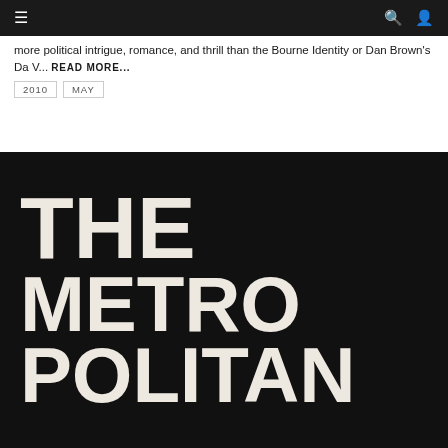≡  🔍  👤
more political intrigue, romance, and thrill than the Bourne Identity or Dan Brown's Da V…  READ MORE...
2010   MAY
[Figure (illustration): Large bold white text on black background reading 'THE METROPOLITAN' split across three lines: 'THE', 'METRO', 'POLITAN']